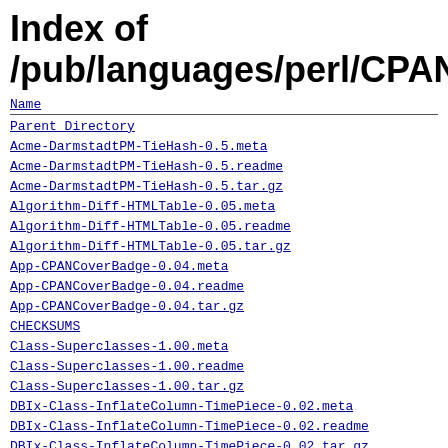Index of /pub/languages/perl/CPAN/module/MySQL/RENEEB
| Name |
| --- |
| Parent Directory |
| Acme-DarmstadtPM-TieHash-0.5.meta |
| Acme-DarmstadtPM-TieHash-0.5.readme |
| Acme-DarmstadtPM-TieHash-0.5.tar.gz |
| Algorithm-Diff-HTMLTable-0.05.meta |
| Algorithm-Diff-HTMLTable-0.05.readme |
| Algorithm-Diff-HTMLTable-0.05.tar.gz |
| App-CPANCoverBadge-0.04.meta |
| App-CPANCoverBadge-0.04.readme |
| App-CPANCoverBadge-0.04.tar.gz |
| CHECKSUMS |
| Class-Superclasses-1.00.meta |
| Class-Superclasses-1.00.readme |
| Class-Superclasses-1.00.tar.gz |
| DBIx-Class-InflateColumn-TimePiece-0.02.meta |
| DBIx-Class-InflateColumn-TimePiece-0.02.readme |
| DBIx-Class-InflateColumn-TimePiece-0.02.tar.gz |
| Data-Tabulate-0.09.meta |
| Data-Tabulate-0.09.readme |